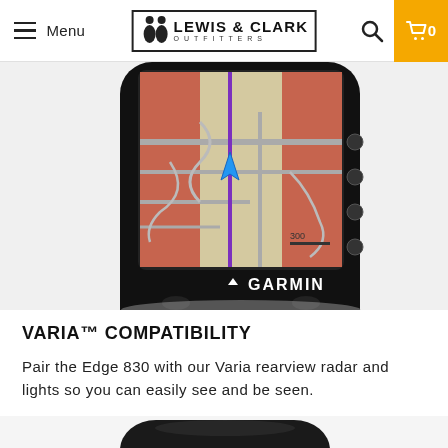Menu | Lewis & Clark Outfitters | Search | Cart 0
[Figure (photo): Close-up of a Garmin Edge 830 GPS cycling computer showing a navigation map screen with a route highlighted in purple, red-shaded area indicating upcoming turn, and 'GARMIN' branding below the screen.]
VARIA™ COMPATIBILITY
Pair the Edge 830 with our Varia rearview radar and lights so you can easily see and be seen.
[Figure (photo): Top portion of a black Garmin Varia device (rearview radar/light), showing the rounded top edge of the unit on a white background.]